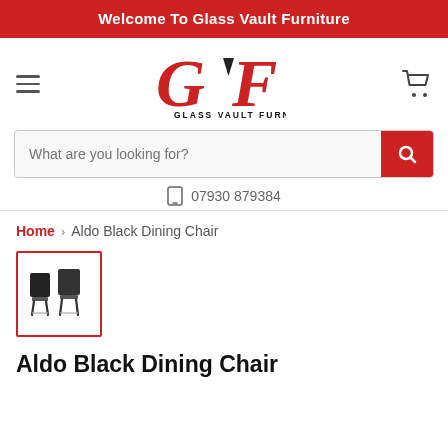Welcome To Glass Vault Furniture
[Figure (logo): Glass Vault Furniture logo with GVF letters in red and black, text GLASS VAULT FURNITURE below]
What are you looking for?
07930 879384
Home > Aldo Black Dining Chair
[Figure (photo): Thumbnail image of Aldo Black Dining Chair with red border]
Aldo Black Dining Chair